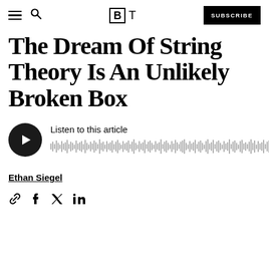Big Think — SUBSCRIBE
The Dream Of String Theory Is An Unlikely Broken Box
[Figure (other): Audio player widget with play button and waveform visualization. Text reads 'Listen to this article']
Ethan Siegel
[Figure (other): Social sharing icons: link, Facebook, Twitter/X, LinkedIn]